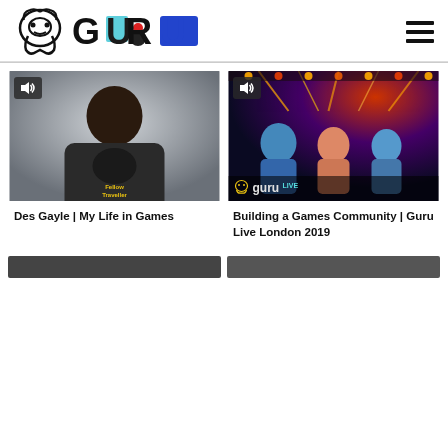[Figure (logo): BAFTA Guru logo with BAFTA mask icon and colorful GURU text (cyan, dark, blue letters with red and black accent shapes)]
[Figure (photo): Portrait of Des Gayle wearing a Fellow Traveller t-shirt, smiling, indoor background. Audio/speaker icon in top-left corner.]
[Figure (photo): Group of people at Guru Live London 2019 event, lit with red and blue stage lights. BAFTA Guru Live logo overlay in bottom-left. Audio/speaker icon in top-left corner.]
Des Gayle | My Life in Games
Building a Games Community | Guru Live London 2019